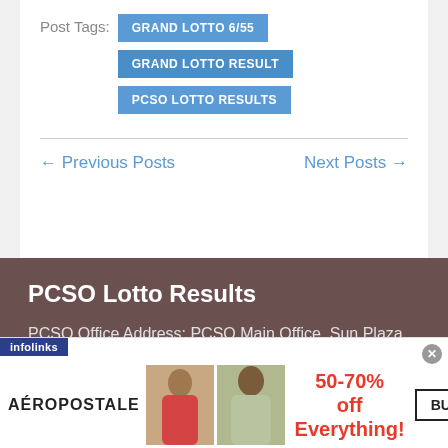Post Tags: GRAND LOTTO 6/55 | GRAND LOTTO RESULT | PCSO LOTTO RESULTS
← Previous Posts   Next Posts →
PCSO Lotto Results
PCSO Office Address: PCSO Main Office, Sun Plaza Building, 1507 Princeton Street corner Shaw Boulevard, Mandaluyong City 1552
[Figure (infographic): Aeropostale advertisement banner with two female models and text '50-70% off Everything!' and 'BUY NOW' button. Infolinks badge in top-left corner.]